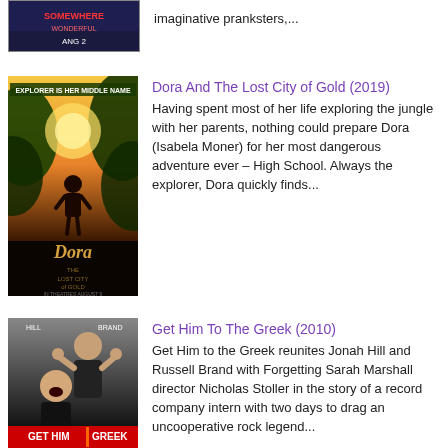[Figure (photo): Partial movie poster at top (cut off) - appears to be a movie with dark blue/purple tones, partially visible title and date]
imaginative pranksters,...
[Figure (photo): Movie poster for Dora And The Lost City of Gold showing a jungle scene with a girl standing against golden light]
Dora And The Lost City of Gold (2019)
Having spent most of her life exploring the jungle with her parents, nothing could prepare Dora (Isabela Moner) for her most dangerous adventure ever – High School. Always the explorer, Dora quickly finds...
[Figure (photo): Movie poster for Get Him To The Greek showing Jonah Hill and Russell Brand making rock gestures]
Get Him To The Greek (2010)
Get Him to the Greek reunites Jonah Hill and Russell Brand with Forgetting Sarah Marshall director Nicholas Stoller in the story of a record company intern with two days to drag an uncooperative rock legend...